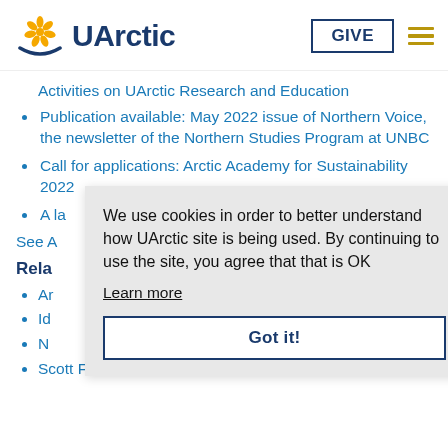UArctic
Activities on UArctic Research and Education
Publication available: May 2022 issue of Northern Voice, the newsletter of the Northern Studies Program at UNBC
Call for applications: Arctic Academy for Sustainability 2022
A... la...
See A...
Rela...
Ar...
Id...
N...
Scott Forrest
We use cookies in order to better understand how UArctic site is being used. By continuing to use the site, you agree that that is OK
Learn more
Got it!